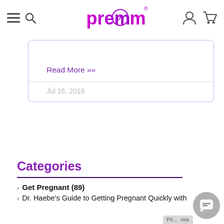premom (logo with navigation icons)
Read More >>
Jul 16, 2018
Categories
> Get Pregnant (89)
> Dr. Haebe's Guide to Getting Pregnant Quickly with